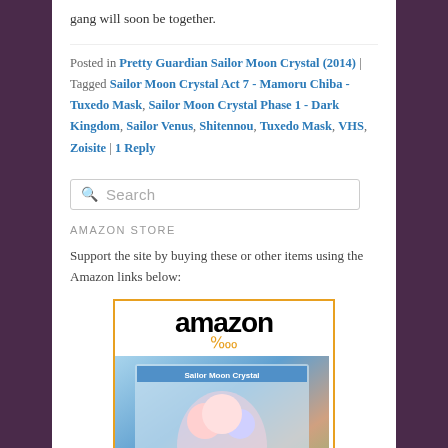gang will soon be together.
Posted in Pretty Guardian Sailor Moon Crystal (2014) | Tagged Sailor Moon Crystal Act 7 - Mamoru Chiba - Tuxedo Mask, Sailor Moon Crystal Phase 1 - Dark Kingdom, Sailor Venus, Shitennou, Tuxedo Mask, VHS, Zoisite | 1 Reply
Search
AMAZON STORE
Support the site by buying these or other items using the Amazon links below:
[Figure (other): Amazon widget showing a Sailor Moon Crystal Blu-ray/DVD product with Amazon logo and product image]